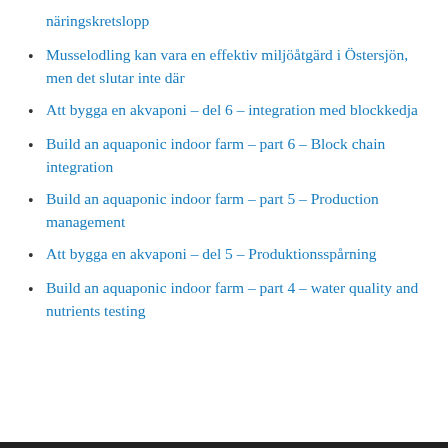näringskretslopp
Musselodling kan vara en effektiv miljöåtgärd i Östersjön, men det slutar inte där
Att bygga en akvaponi – del 6 – integration med blockkedja
Build an aquaponic indoor farm – part 6 – Block chain integration
Build an aquaponic indoor farm – part 5 – Production management
Att bygga en akvaponi – del 5 – Produktionsspårning
Build an aquaponic indoor farm – part 4 – water quality and nutrients testing